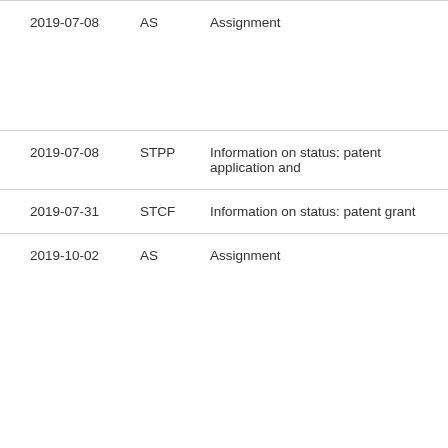| Date | Code | Description |
| --- | --- | --- |
| 2019-07-08 | AS | Assignment |
| 2019-07-08 | STPP | Information on status: patent application and |
| 2019-07-31 | STCF | Information on status: patent grant |
| 2019-10-02 | AS | Assignment |